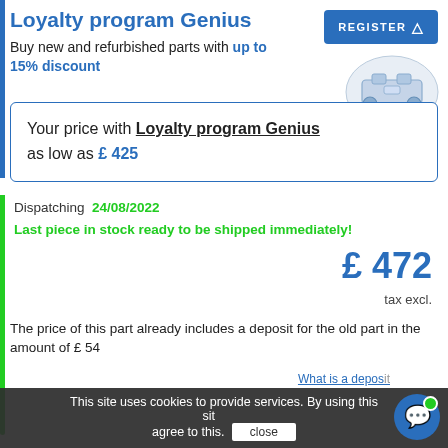Loyalty program Genius
Buy new and refurbished parts with up to 15% discount
REGISTER
Your price with Loyalty program Genius as low as £ 425
Dispatching 24/08/2022
Last piece in stock ready to be shipped immediately!
£ 472
tax excl.
The price of this part already includes a deposit for the old part in the amount of £ 54
This site uses cookies to provide services. By using this site you agree to this. close What is a deposit?